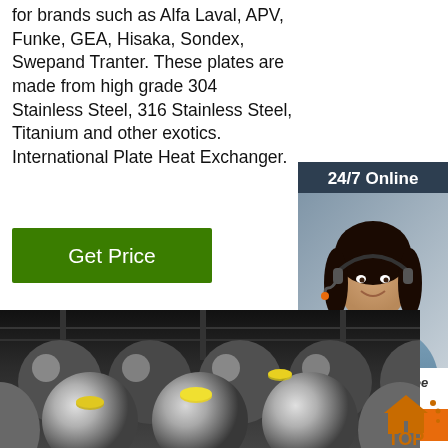for brands such as Alfa Laval, APV, Funke, GEA, Hisaka, Sondex, Swepand Tranter. These plates are made from high grade 304 Stainless Steel, 316 Stainless Steel, Titanium and other exotics. International Plate Heat Exchanger.
Get Price
24/7 Online
[Figure (photo): Customer service representative wearing headset, smiling]
Click here for free chat !
QUOTATION
[Figure (photo): Industrial metal rods/bars stacked in a warehouse, with yellow end caps visible]
[Figure (logo): TOP icon with house/home symbol in orange]